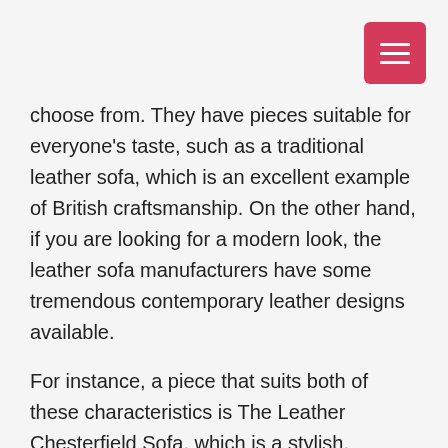[Figure (other): Hamburger menu button, pink/red square with three white horizontal lines]
choose from. They have pieces suitable for everyone's taste, such as a traditional leather sofa, which is an excellent example of British craftsmanship. On the other hand, if you are looking for a modern look, the leather sofa manufacturers have some tremendous contemporary leather designs available.
For instance, a piece that suits both of these characteristics is The Leather Chesterfield Sofa, which is a stylish, hardwearing and versatile sofa. It has flared arms and deep sprung back; it displays all the characteristics of the Chesterfield design. Thomas Lloyd believes it would make a great addition to any home.
Also, the chesterfield sofas are perfect for the city life, apartments or small living rooms. Thomas Lloyd has a selection of two-seater Chesterfield sofas which are ideal for those who are quite limited on the space they have for furniture in their home.